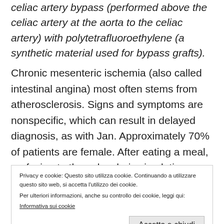celiac artery bypass (performed above the celiac artery at the aorta to the celiac artery) with polytetrafluoroethylene (a synthetic material used for bypass grafts).
Chronic mesenteric ischemia (also called intestinal angina) most often stems from atherosclerosis. Signs and symptoms are nonspecific, which can result in delayed diagnosis, as with Jan. Approximately 70% of patients are female. After eating a meal, perfusion to the splanchnic circulation normally increases—but not in a patient with mesenteric ischemia. As a result, abdominal pain occurs,
Privacy e cookie: Questo sito utilizza cookie. Continuando a utilizzare questo sito web, si accetta l'utilizzo dei cookie.
Per ulteriori informazioni, anche su controllo dei cookie, leggi qui:
Informativa sui cookie
taking prescribed medications. She is able to resume her